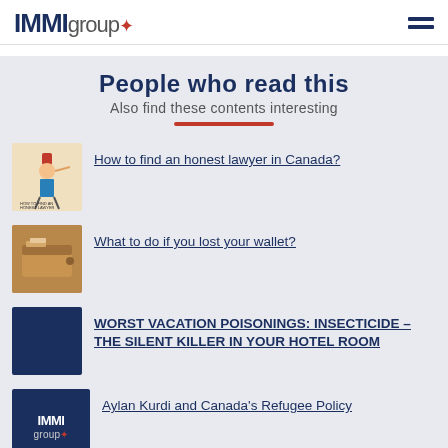IMMMIgroup
People who read this
Also find these contents interesting
How to find an honest lawyer in Canada?
What to do if you lost your wallet?
WORST VACATION POISONINGS: INSECTICIDE – THE SILENT KILLER IN YOUR HOTEL ROOM
Aylan Kurdi and Canada's Refugee Policy